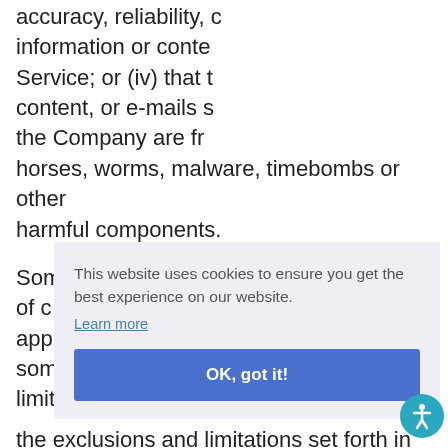accuracy, reliability, or information or content Service; or (iv) that the content, or e-mails sent by the Company are free of viruses, trojan horses, worms, malware, timebombs or other harmful components.
Some of disclaimers of certain types of damages or limitation of certain of some or limit the exclusions and limitations set forth in
This website uses cookies to ensure you get the best experience on our website. Learn more OK, got it!